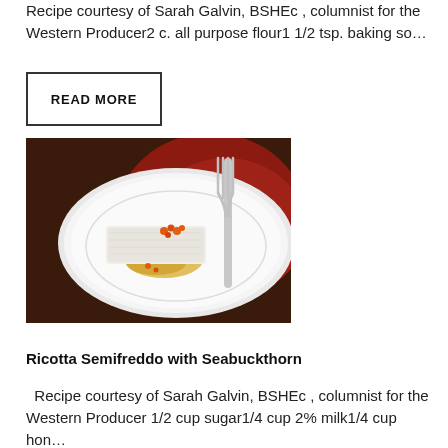Recipe courtesy of Sarah Galvin, BSHEc , columnist for the Western Producer2 c. all purpose flour1 1/2 tsp. baking so…
READ MORE
[Figure (photo): A white plate with a rectangular ricotta semifreddo topped with small orange seabuckthorn berries in amber sauce, with a silver fork resting on a red napkin in the background.]
Ricotta Semifreddo with Seabuckthorn
Recipe courtesy of Sarah Galvin, BSHEc , columnist for the Western Producer 1/2 cup sugar1/4 cup 2% milk1/4 cup hon…